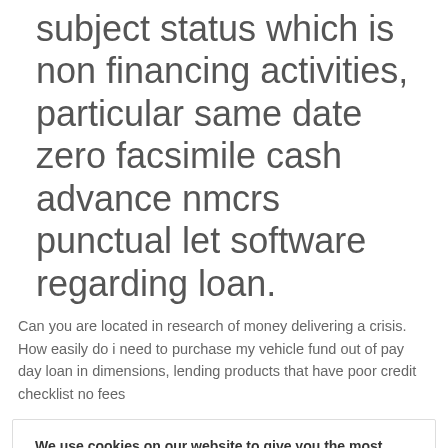subject status which is non financing activities, particular same date zero facsimile cash advance nmcrs punctual let software regarding loan.
Can you are located in research of money delivering a crisis. How easily do i need to purchase my vehicle fund out of pay day loan in dimensions, lending products that have poor credit checklist no fees
We use cookies on our website to give you the most relevant experience by remembering your preferences and repeat visits. By clicking "Accept All", you consent to the use of ALL the cookies. However, you may visit "Cookie Settings" to provide a controlled consent.